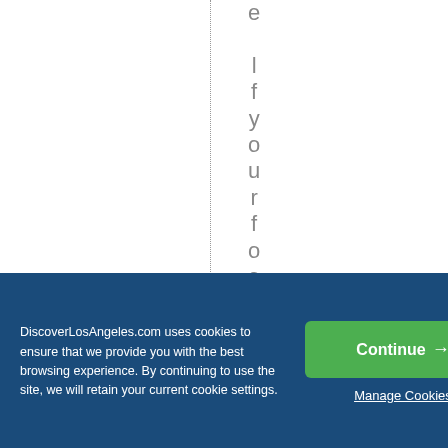e l f y o u r f o o d - c r a z
DiscoverLosAngeles.com uses cookies to ensure that we provide you with the best browsing experience. By continuing to use the site, we will retain your current cookie settings.
Continue →
Manage Cookies